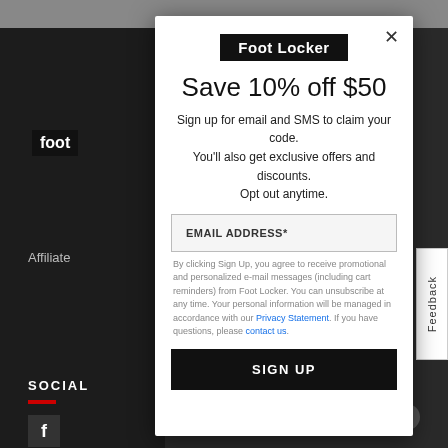[Figure (screenshot): Foot Locker website background showing dark navigation bar, Foot Locker logo, Affiliate text, Social section with red underline and Facebook icon, navigation hamburger icon, Feedback tab on right side, help circle icon bottom right.]
Foot Locker
Save 10% off $50
Sign up for email and SMS to claim your code. You'll also get exclusive offers and discounts. Opt out anytime.
EMAIL ADDRESS*
By clicking Sign Up, you agree to receive promotional and personalized e-mail messages (including cart reminders) from Foot Locker. You can unsubscribe at any time. Your personal information will be managed in accordance with our Privacy Statement. If you have questions, please contact us.
SIGN UP